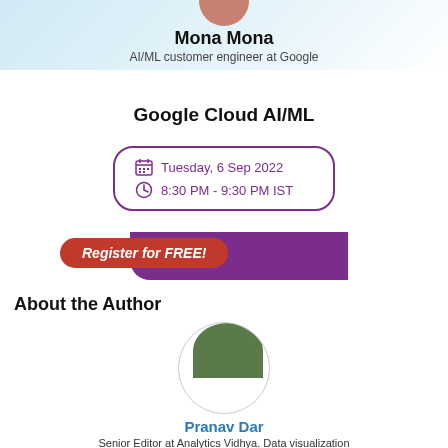[Figure (photo): Partial circular profile photo of Mona Mona at top center]
Mona Mona
AI/ML customer engineer at Google
Google Cloud AI/ML
Tuesday, 6 Sep 2022
8:30 PM - 9:30 PM IST
Register for FREE!
About the Author
[Figure (photo): Circular profile photo of Pranav Dar, partial view showing top of head with dark hair on olive/green background]
Pranav Dar
Senior Editor at Analytics Vidhya. Data visualization